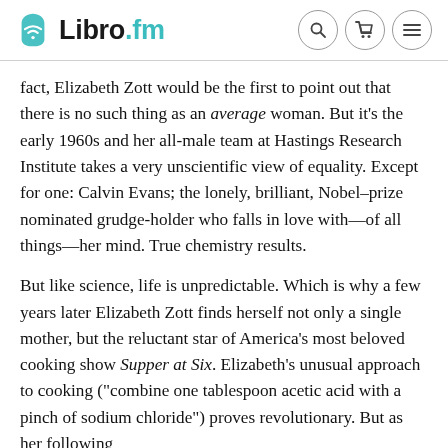Libro.fm
fact, Elizabeth Zott would be the first to point out that there is no such thing as an average woman. But it’s the early 1960s and her all-male team at Hastings Research Institute takes a very unscientific view of equality. Except for one: Calvin Evans; the lonely, brilliant, Nobel–prize nominated grudge-holder who falls in love with—of all things—her mind. True chemistry results.
But like science, life is unpredictable. Which is why a few years later Elizabeth Zott finds herself not only a single mother, but the reluctant star of America’s most beloved cooking show Supper at Six. Elizabeth’s unusual approach to cooking (“combine one tablespoon acetic acid with a pinch of sodium chloride”) proves revolutionary. But as her following